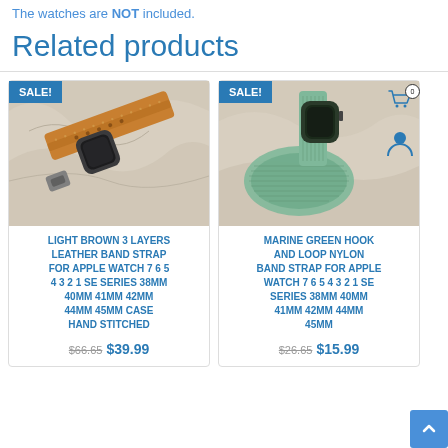The watches are NOT included.
Related products
[Figure (photo): Light brown leather watch band strap on marble surface with an Apple Watch attached, SALE badge in top left corner]
LIGHT BROWN 3 LAYERS LEATHER BAND STRAP FOR APPLE WATCH 7 6 5 4 3 2 1 SE SERIES 38MM 40MM 41MM 42MM 44MM 45MM CASE HAND STITCHED
$66.65 $39.99
[Figure (photo): Marine green nylon hook and loop watch band strap on marble surface with an Apple Watch, SALE badge in top left corner, cart icon with 0 and user icon on right side]
MARINE GREEN HOOK AND LOOP NYLON BAND STRAP FOR APPLE WATCH 7 6 5 4 3 2 1 SE SERIES 38MM 40MM 41MM 42MM 44MM 45MM
$26.65 $15.99